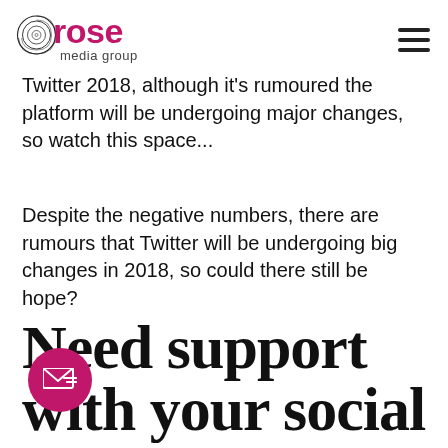rose media group
Twitter 2018, although it's rumoured the platform will be undergoing major changes, so watch this space...
Despite the negative numbers, there are rumours that Twitter will be undergoing big changes in 2018, so could there still be hope?
Need support with your social media marketing in 2018?